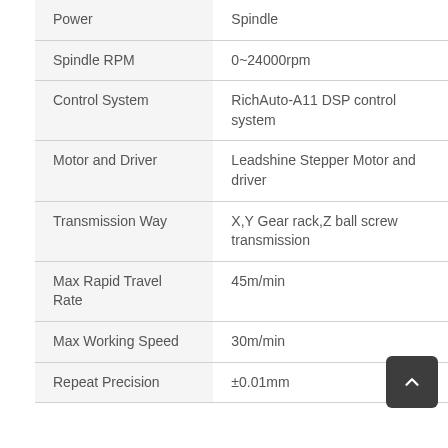| Specification | Value |
| --- | --- |
| Power | Spindle |
| Spindle RPM | 0~24000rpm |
| Control System | RichAuto-A11 DSP control system |
| Motor and Driver | Leadshine Stepper Motor and driver |
| Transmission Way | X,Y Gear rack,Z ball screw transmission |
| Max Rapid Travel Rate | 45m/min |
| Max Working Speed | 30m/min |
| Repeat Precision | ±0.01mm |